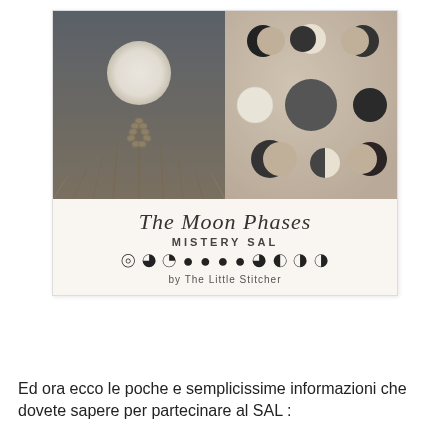[Figure (illustration): Composite card image: left half shows a photo of a full moon above wheat stalks on a dark grey sky; right half shows a beige/sand-toned illustration of various moon phases as circles. Below the photos is text: 'The Moon Phases' in italic script, 'MISTERY SAL' in caps, a row of moon phase crescent symbols, and 'by The Little Stitcher' in small text.]
Ed ora ecco le poche e semplicissime informazioni che dovete sapere per partecinare al SAL :